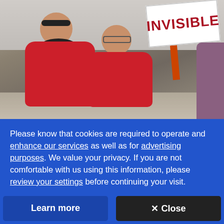[Figure (photo): Two people wearing red shirts standing together outdoors. The taller person on the left wears sunglasses and headphones around their neck. The shorter person on the right wears glasses and smiles. In the background, a sign reads 'INVISIBLE'. A partial figure is visible on the far right.]
Please know that cookies are required to operate and enhance our services as well as for advertising purposes. We value your privacy. If you are not comfortable with us using this information, please review your settings before continuing your visit.